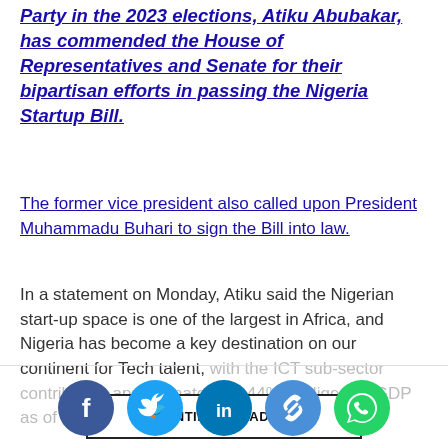Party in the 2023 elections, Atiku Abubakar, has commended the House of Representatives and Senate for their bipartisan efforts in passing the Nigeria Startup Bill.
The former vice president also called upon President Muhammadu Buhari to sign the Bill into law.
In a statement on Monday, Atiku said the Nigerian start-up space is one of the largest in Africa, and Nigeria has become a key destination on our continent for Tech talent, with the ICT sub-sector contributing approximately 18.44% of Nigeria's GDP as of the end of Q2 in 2022.
CONTINUE READING
[Figure (infographic): Social media share buttons: Facebook, Twitter, LinkedIn, Link, WhatsApp]